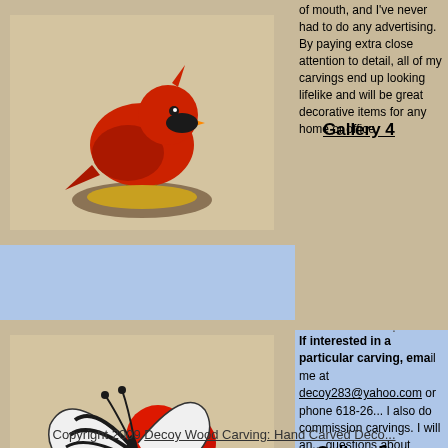of mouth, and I've never had to do any advertising. By paying extra close attention to detail, all of my carvings end up looking lifelike and will be great decorative items for any home or office.
[Figure (photo): Carved and painted red cardinal bird on a yellow base/stand, displayed against a beige background.]
Gallery 4
[Figure (photo): Carved and painted zebra swallowtail butterfly with a red flower (possibly a poppy) and green leaves on a beige background.]
Gallery 5
If interested in a particular carving, email me at decoy283@yahoo.com or phone 618-26... I also do commission carvings. I will answer any questions about ordering, payment or shipping of my hand carved decoys.
Copyright 2009 Decoy Wood Carving: Hand Carved Deco...